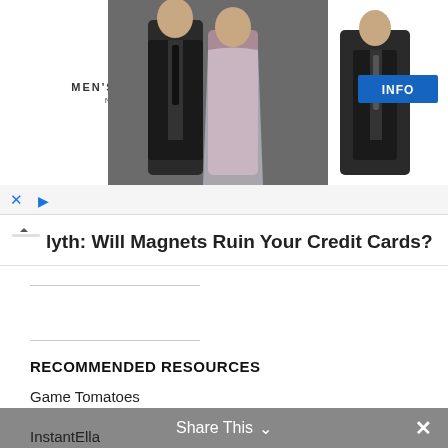[Figure (photo): Men's Wearhouse advertisement banner showing a couple in formal wear and a man in a suit, with an INFO button]
[Figure (screenshot): Ad controls row with X close button and play arrow icon]
Myth: Will Magnets Ruin Your Credit Cards?
RECOMMENDED RESOURCES
Game Tomatoes
InfiniGEEK
InstantElla
Share This ∨  ✕